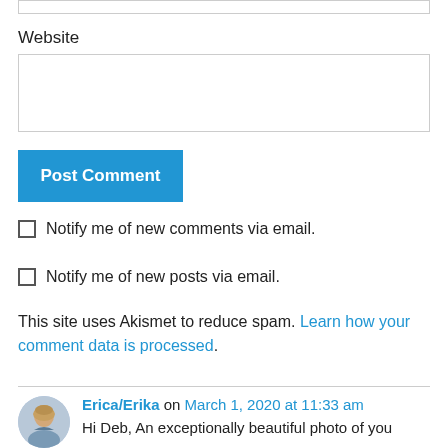Website
Post Comment
Notify me of new comments via email.
Notify me of new posts via email.
This site uses Akismet to reduce spam. Learn how your comment data is processed.
Erica/Erika on March 1, 2020 at 11:33 am
Hi Deb, An exceptionally beautiful photo of you